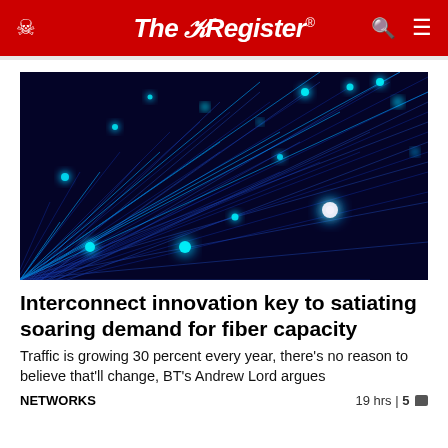The Register®
[Figure (photo): Fiber optic cables glowing with bright cyan/blue light against a dark black background, showing multiple strands of optical fiber with bright glowing tips]
Interconnect innovation key to satiating soaring demand for fiber capacity
Traffic is growing 30 percent every year, there's no reason to believe that'll change, BT's Andrew Lord argues
NETWORKS  19 hrs | 5 💬